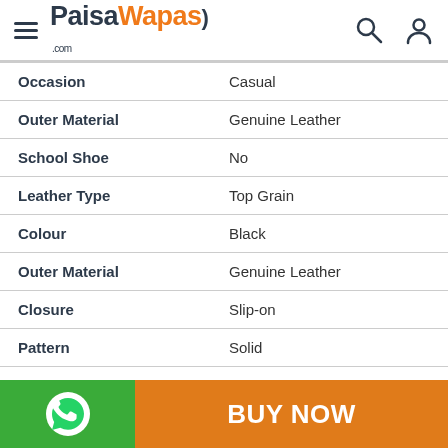PaisaWapas.com
| Attribute | Value |
| --- | --- |
| Occasion | Casual |
| Outer Material | Genuine Leather |
| School Shoe | No |
| Leather Type | Top Grain |
| Colour | Black |
| Outer Material | Genuine Leather |
| Closure | Slip-on |
| Pattern | Solid |
| Overview | 1 inch Heel Height |
BUY NOW